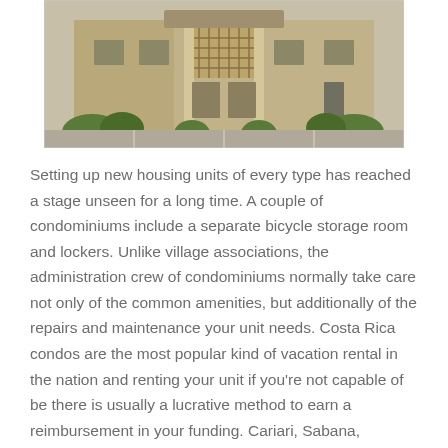[Figure (photo): Exterior photo of a condominium building with beige stucco walls, covered entrance with lattice detail, parking lot in foreground, green shrubs flanking the entrance.]
Setting up new housing units of every type has reached a stage unseen for a long time. A couple of condominiums include a separate bicycle storage room and lockers. Unlike village associations, the administration crew of condominiums normally take care not only of the common amenities, but additionally of the repairs and maintenance your unit needs. Costa Rica condos are the most popular kind of vacation rental in the nation and renting your unit if you're not capable of be there is usually a lucrative method to earn a reimbursement in your funding. Cariari, Sabana, Rohrmoser, Heredia and Alajuela are some of the places the place you'll find excessive-rise and mid- rise condos accessible on the market and for